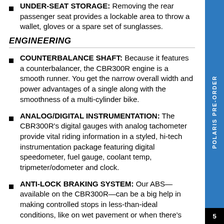UNDER-SEAT STORAGE: Removing the rear passenger seat provides a lockable area to throw a wallet, gloves or a spare set of sunglasses.
ENGINEERING
COUNTERBALANCE SHAFT: Because it features a counterbalancer, the CBR300R engine is a smooth runner. You get the narrow overall width and power advantages of a single along with the smoothness of a multi-cylinder bike.
ANALOG/DIGITAL INSTRUMENTATION: The CBR300R's digital gauges with analog tachometer provide vital riding information in a styled, hi-tech instrumentation package featuring digital speedometer, fuel gauge, coolant temp, tripmeter/odometer and clock.
ANTI-LOCK BRAKING SYSTEM: Our ABS—available on the CBR300R—can be a big help in making controlled stops in less-than-ideal conditions, like on wet pavement or when there's